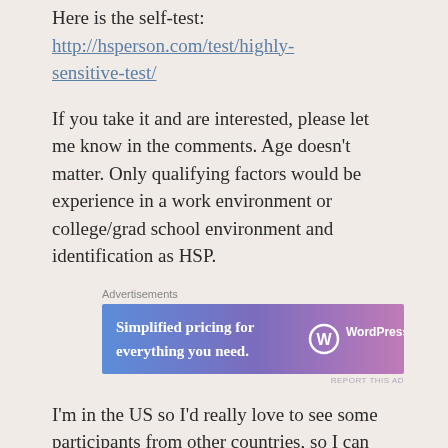Here is the self-test: http://hsperson.com/test/highly-sensitive-test/
If you take it and are interested, please let me know in the comments. Age doesn't matter. Only qualifying factors would be experience in a work environment or college/grad school environment and identification as HSP.
[Figure (screenshot): WordPress.com advertisement banner with gradient background (blue to purple/pink). Text reads: 'Simplified pricing for everything you need.' with WordPress.com logo on the right.]
I'm in the US so I'd really love to see some participants from other countries, so I can learn about how your country does or does not do a better job of accommodating highly sensitive traits.
And, as a side note: the self-test really just measures